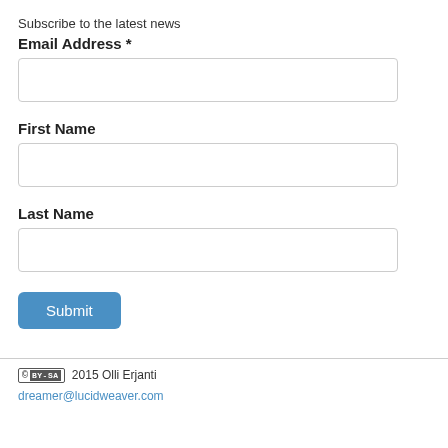Subscribe to the latest news
Email Address *
[Figure (other): Empty text input field for Email Address]
First Name
[Figure (other): Empty text input field for First Name]
Last Name
[Figure (other): Empty text input field for Last Name]
[Figure (other): Submit button with blue background and white text]
(cc) BY-SA 2015 Olli Erjanti dreamer@lucidweaver.com